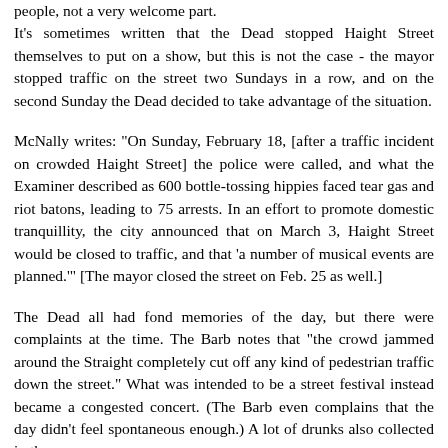people, not a very welcome part.
It's sometimes written that the Dead stopped Haight Street themselves to put on a show, but this is not the case - the mayor stopped traffic on the street two Sundays in a row, and on the second Sunday the Dead decided to take advantage of the situation.
McNally writes: "On Sunday, February 18, [after a traffic incident on crowded Haight Street] the police were called, and what the Examiner described as 600 bottle-tossing hippies faced tear gas and riot batons, leading to 75 arrests. In an effort to promote domestic tranquillity, the city announced that on March 3, Haight Street would be closed to traffic, and that 'a number of musical events are planned.'" [The mayor closed the street on Feb. 25 as well.]
The Dead all had fond memories of the day, but there were complaints at the time. The Barb notes that "the crowd jammed around the Straight completely cut off any kind of pedestrian traffic down the street." What was intended to be a street festival instead became a congested concert. (The Barb even complains that the day didn't feel spontaneous enough.) A lot of drunks also collected in the